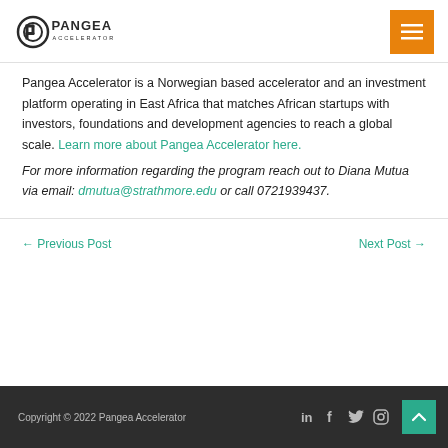Pangea Accelerator [logo] [menu button]
Pangea Accelerator is a Norwegian based accelerator and an investment platform operating in East Africa that matches African startups with investors, foundations and development agencies to reach a global scale. Learn more about Pangea Accelerator here.
For more information regarding the program reach out to Diana Mutua via email: dmutua@strathmore.edu or call 0721939437.
← Previous Post    Next Post →
Copyright © 2022 Pangea Accelerator